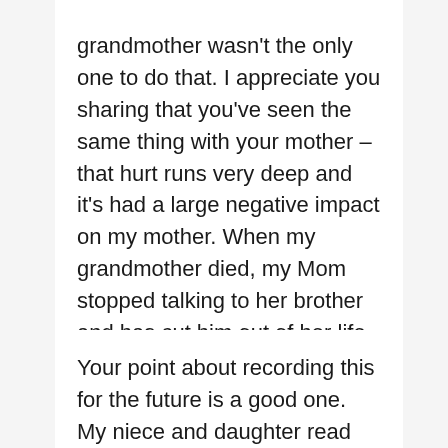grandmother wasn't the only one to do that. I appreciate you sharing that you've seen the same thing with your mother – that hurt runs very deep and it's had a large negative impact on my mother. When my grandmother died, my Mom stopped talking to her brother and has cut him out of her life. It's too bad; I enjoy my relationship with my sister and my Mom doesn't have that.
Your point about recording this for the future is a good one. My niece and daughter read my posts and this is good